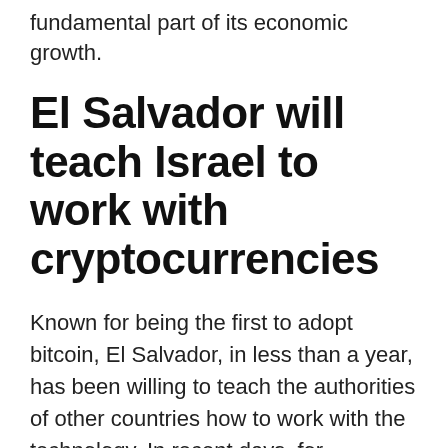fundamental part of its economic growth.
El Salvador will teach Israel to work with cryptocurrencies
Known for being the first to adopt bitcoin, El Salvador, in less than a year, has been willing to teach the authorities of other countries how to work with the technology. In recent days, for example, 44 members of central banks and financial authorities have visited the country for a bitcoin dip. Before that, Brazilian Federal Police agents traveled to the small Central American country to study the currency at an international event on the subject. Last week